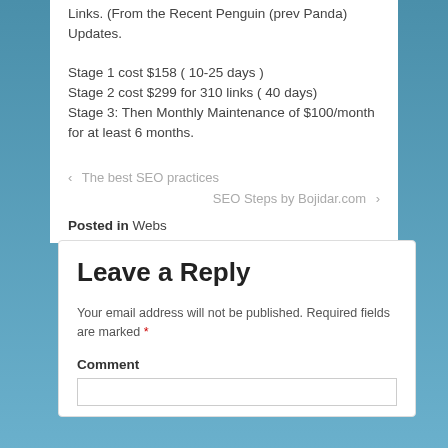Links. (From the Recent Penguin (prev Panda) Updates.
Stage 1 cost $158 ( 10-25 days )
Stage 2 cost $299 for 310 links ( 40 days)
Stage 3: Then Monthly Maintenance of $100/month for at least 6 months.
‹  The best SEO practices
SEO Steps by Bojidar.com  ›
Posted in Webs
Leave a Reply
Your email address will not be published. Required fields are marked *
Comment